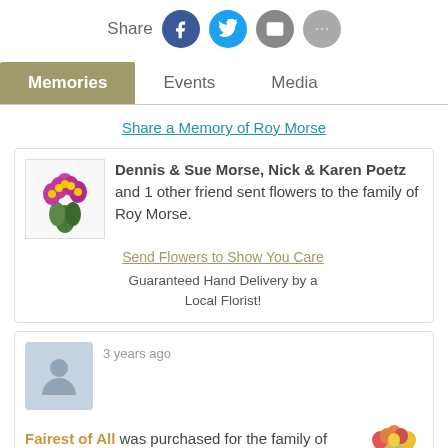[Figure (infographic): Share row with social icons: Facebook (blue), Twitter (cyan), Email (gray), Phone (gray)]
Memories | Events | Media (tab navigation)
Share a Memory of Roy Morse
Dennis & Sue Morse, Nick & Karen Poetz and 1 other friend sent flowers to the family of Roy Morse.
Send Flowers to Show You Care
Guaranteed Hand Delivery by a Local Florist!
3 years ago
Fairest of All was purchased for the family of Roy Morse.